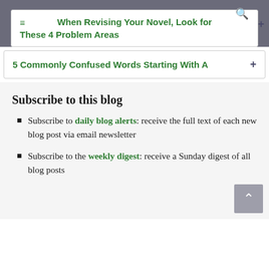When Revising Your Novel, Look for These 4 Problem Areas
5 Commonly Confused Words Starting With A
Subscribe to this blog
Subscribe to daily blog alerts: receive the full text of each new blog post via email newsletter
Subscribe to the weekly digest: receive a Sunday digest of all blog posts